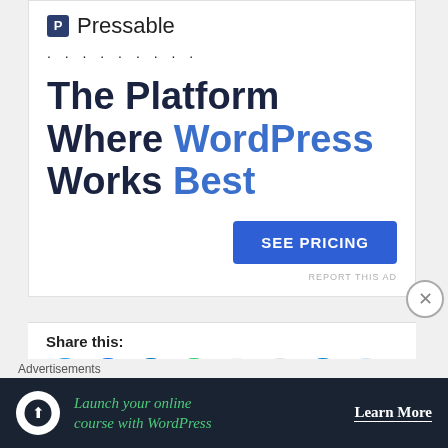[Figure (logo): Pressable logo with icon and name, followed by dotted line]
The Platform Where WordPress Works Best
SEE PRICING
REPORT THIS AD
Share this:
[Figure (infographic): Row of social sharing icon circles: Twitter, Facebook, LinkedIn, WhatsApp, Email, Print, Telegram, Reddit, Tumblr, and Pinterest]
Advertisements
[Figure (infographic): Dark banner ad: Launch your online course with WordPress — Learn More button]